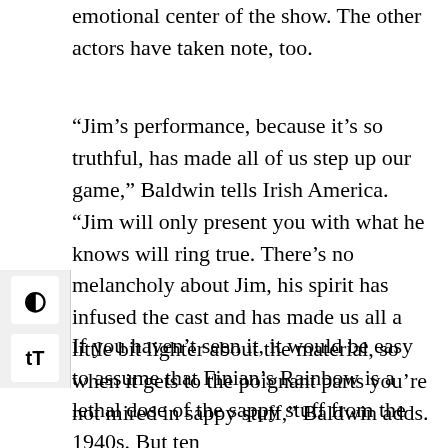emotional center of the show. The other actors have taken note, too.
“Jim’s performance, because it’s so truthful, has made all of us step up our game,” Baldwin tells Irish America. “Jim will only present you with what he knows will ring true. There’s no melancholy about Jim, his spirit has infused the cast and has made us all a little bit lighter about the material, so when it gets to the poignant parts you’re not mired in sappy stuff,” Baldwin adds.
If you haven’t seen it, it would be easy to assume that Finian’s Rainbow is a lethal dose of the sappy stuff from the 1940s. But ten